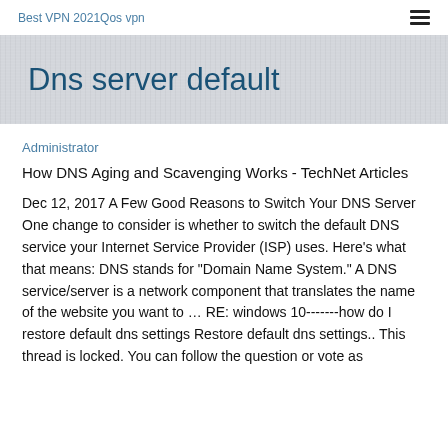Best VPN 2021Qos vpn
Dns server default
Administrator
How DNS Aging and Scavenging Works - TechNet Articles
Dec 12, 2017 A Few Good Reasons to Switch Your DNS Server One change to consider is whether to switch the default DNS service your Internet Service Provider (ISP) uses. Here's what that means: DNS stands for "Domain Name System." A DNS service/server is a network component that translates the name of the website you want to … RE: windows 10-------how do I restore default dns settings Restore default dns settings.. This thread is locked. You can follow the question or vote as